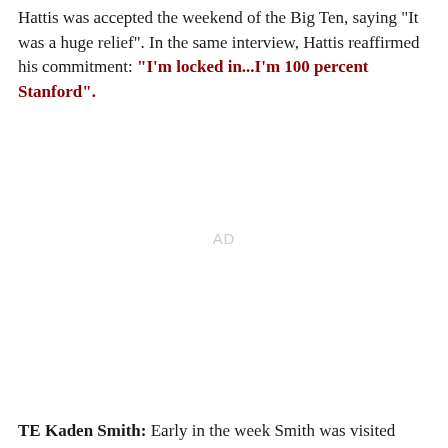Hattis was accepted the weekend of the Big Ten, saying "It was a huge relief". In the same interview, Hattis reaffirmed his commitment: "I'm locked in...I'm 100 percent Stanford".
AD
TE Kaden Smith: Early in the week Smith was visited